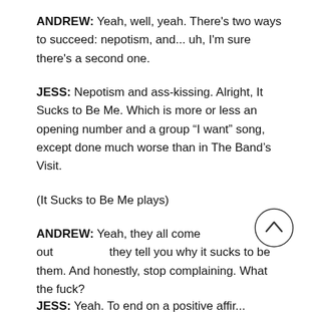ANDREW: Yeah, well, yeah. There's two ways to succeed: nepotism, and... uh, I'm sure there's a second one.
JESS: Nepotism and ass-kissing. Alright, It Sucks to Be Me. Which is more or less an opening number and a group “I want” song, except done much worse than in The Band's Visit.
(It Sucks to Be Me plays)
ANDREW: Yeah, they all come out they tell you why it sucks to be them. And honestly, stop complaining. What the fuck?
JESS: Yeah. To end on a positive affir...